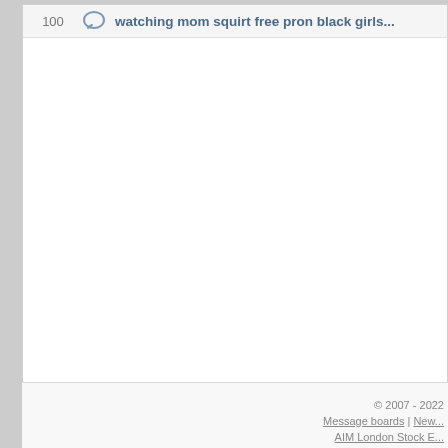100  watching mom squirt free pron black girls...
© 2007 - 2022  |  Message boards | New...  |  AIM London Stock E...